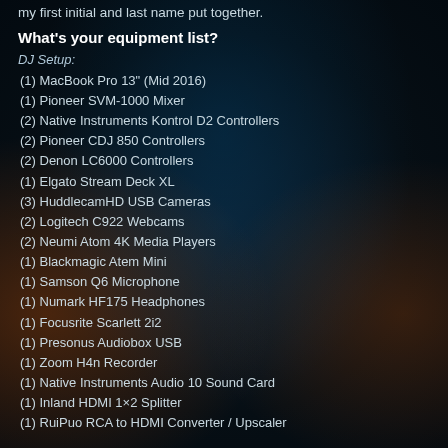my first initial and last name put together.
What's your equipment list?
DJ Setup:
(1) MacBook Pro 13" (Mid 2016)
(1) Pioneer SVM-1000 Mixer
(2) Native Instruments Kontrol D2 Controllers
(2) Pioneer CDJ 850 Controllers
(2) Denon LC6000 Controllers
(1) Elgato Stream Deck XL
(3) HuddlecamHD USB Cameras
(2) Logitech C922 Webcams
(2) Neumi Atom 4K Media Players
(1) Blackmagic Atem Mini
(1) Samson Q6 Microphone
(1) Numark HF175 Headphones
(1) Focusrite Scarlett 2i2
(1) Presonus Audiobox USB
(1) Zoom H4n Recorder
(1) Native Instruments Audio 10 Sound Card
(1) Inland HDMI 1×2 Splitter
(1) RuiPuo RCA to HDMI Converter / Upscaler